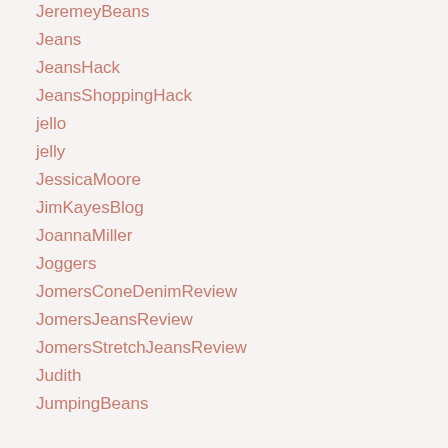JeremeyBeans
Jeans
JeansHack
JeansShoppingHack
jello
jelly
JessicaMoore
JimKayesBlog
JoannaMiller
Joggers
JomersConeDenimReview
JomersJeansReview
JomersStretchJeansReview
Judith
JumpingBeans